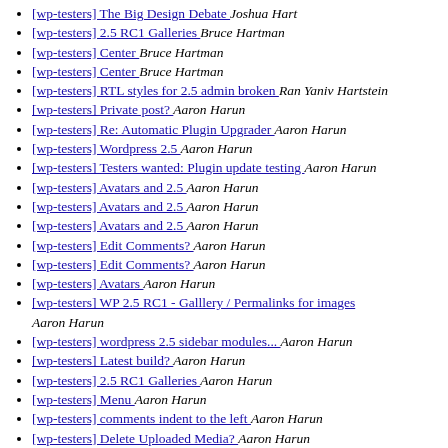[wp-testers] The Big Design Debate  Joshua Hart
[wp-testers] 2.5 RC1 Galleries  Bruce Hartman
[wp-testers] Center  Bruce Hartman
[wp-testers] Center  Bruce Hartman
[wp-testers] RTL styles for 2.5 admin broken  Ran Yaniv Hartstein
[wp-testers] Private post?  Aaron Harun
[wp-testers] Re: Automatic Plugin Upgrader  Aaron Harun
[wp-testers] Wordpress 2.5  Aaron Harun
[wp-testers] Testers wanted: Plugin update testing  Aaron Harun
[wp-testers] Avatars and 2.5  Aaron Harun
[wp-testers] Avatars and 2.5  Aaron Harun
[wp-testers] Avatars and 2.5  Aaron Harun
[wp-testers] Edit Comments?  Aaron Harun
[wp-testers] Edit Comments?  Aaron Harun
[wp-testers] Avatars  Aaron Harun
[wp-testers] WP 2.5 RC1 - Galllery / Permalinks for images  Aaron Harun
[wp-testers] wordpress 2.5 sidebar modules...  Aaron Harun
[wp-testers] Latest build?  Aaron Harun
[wp-testers] 2.5 RC1 Galleries  Aaron Harun
[wp-testers] Menu  Aaron Harun
[wp-testers] comments indent to the left  Aaron Harun
[wp-testers] Delete Uploaded Media?  Aaron Harun